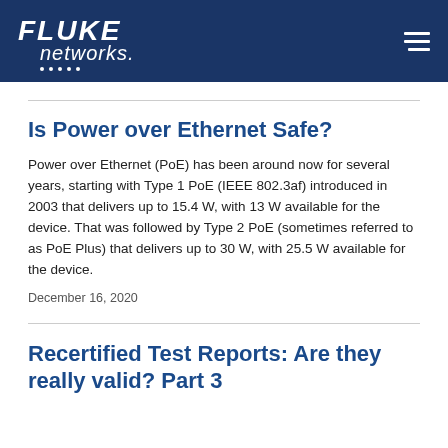Fluke Networks
Is Power over Ethernet Safe?
Power over Ethernet (PoE) has been around now for several years, starting with Type 1 PoE (IEEE 802.3af) introduced in 2003 that delivers up to 15.4 W, with 13 W available for the device. That was followed by Type 2 PoE (sometimes referred to as PoE Plus) that delivers up to 30 W, with 25.5 W available for the device.
December 16, 2020
Recertified Test Reports: Are they really valid? Part 3